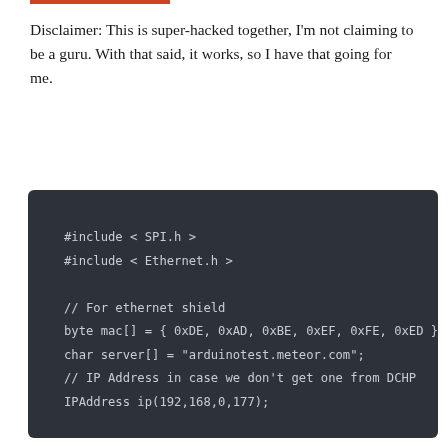Disclaimer: This is super-hacked together, I'm not claiming to be a guru. With that said, it works, so I have that going for me.
[Figure (screenshot): Dark-themed code block showing Arduino C++ code: #include < SPI.h >, #include < Ethernet.h >, comment '// For ethernet shield', byte mac[] = { 0xDE, 0xAD, 0xBE, 0xEF, 0xFE, 0xED };//, char server[] = "arduinotest.meteor.com"; //, // IP Address in case we don't get one from DCHP, IPAddress ip(192,168,0,177);, EthernetClient client;]